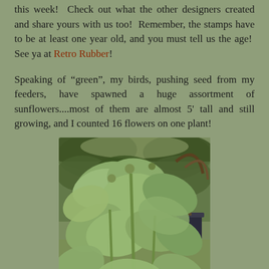this week!  Check out what the other designers created and share yours with us too!  Remember, the stamps have to be at least one year old, and you must tell us the age!  See ya at Retro Rubber!
Speaking of "green", my birds, pushing seed from my feeders, have spawned a huge assortment of sunflowers....most of them are almost 5' tall and still growing, and I counted 16 flowers on one plant!
[Figure (photo): Photo of large sunflower plants with broad leaves growing in a garden, with a bird feeder visible on the right side and trees/shrubs in the background.]